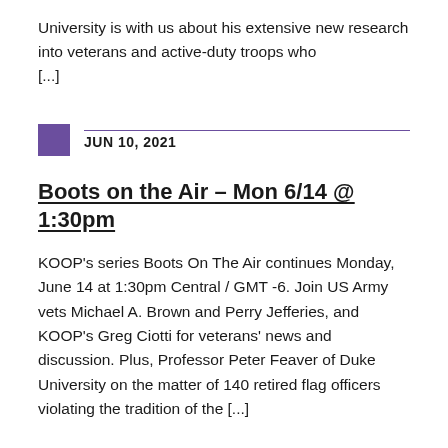University is with us about his extensive new research into veterans and active-duty troops who [...]
JUN 10, 2021
Boots on the Air – Mon 6/14 @ 1:30pm
KOOP's series Boots On The Air continues Monday, June 14 at 1:30pm Central / GMT -6. Join US Army vets Michael A. Brown and Perry Jefferies, and KOOP's Greg Ciotti for veterans' news and discussion. Plus, Professor Peter Feaver of Duke University on the matter of 140 retired flag officers violating the tradition of the [...]